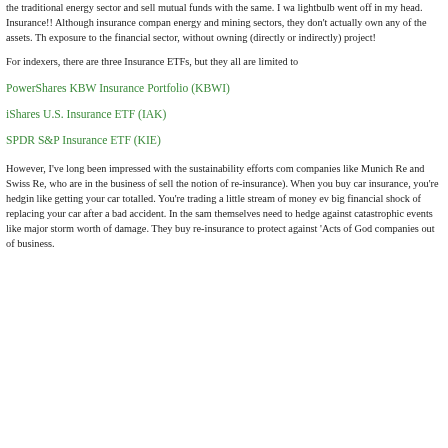the traditional energy sector and sell mutual funds with the same. I wa lightbulb went off in my head. Insurance!! Although insurance compan energy and mining sectors, they don't actually own any of the assets. Th exposure to the financial sector, without owning (directly or indirectly) project!
For indexers, there are three Insurance ETFs, but they all are limited to
PowerShares KBW Insurance Portfolio (KBWI)
iShares U.S. Insurance ETF (IAK)
SPDR S&P Insurance ETF (KIE)
However, I've long been impressed with the sustainability efforts com companies like Munich Re and Swiss Re, who are in the business of sell the notion of re-insurance). When you buy car insurance, you're hedgin like getting your car totalled. You're trading a little stream of money ev big financial shock of replacing your car after a bad accident. In the sam themselves need to hedge against catastrophic events like major storm worth of damage. They buy re-insurance to protect against 'Acts of God companies out of business.